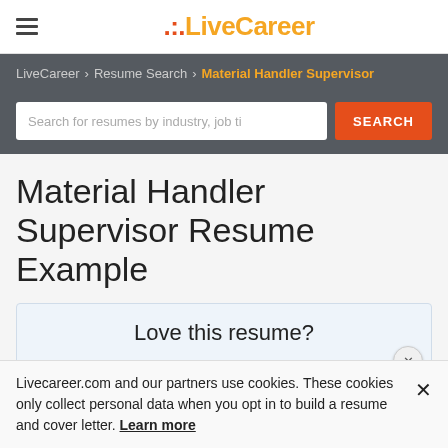LiveCareer
LiveCareer > Resume Search > Material Handler Supervisor
Search for resumes by industry, job ti
Material Handler Supervisor Resume Example
Love this resume?
Livecareer.com and our partners use cookies. These cookies only collect personal data when you opt in to build a resume and cover letter. Learn more